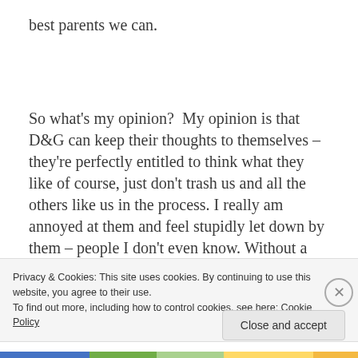best parents we can.
So what's my opinion?  My opinion is that D&G can keep their thoughts to themselves – they're perfectly entitled to think what they like of course, just don't trash us and all the others like us in the process. I really am annoyed at them and feel stupidly let down by them – people I don't even know. Without a doubt they have caused
Privacy & Cookies: This site uses cookies. By continuing to use this website, you agree to their use.
To find out more, including how to control cookies, see here: Cookie Policy
Close and accept